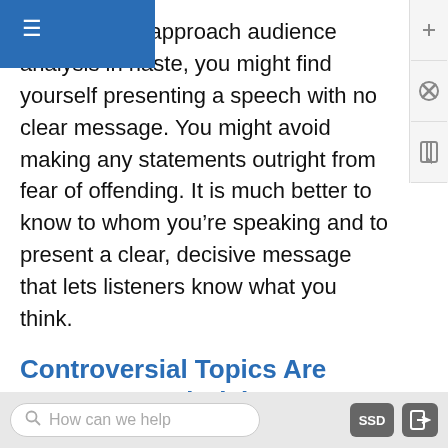know." If you approach audience analysis in haste, you might find yourself presenting a speech with no clear message. You might avoid making any statements outright from fear of offending. It is much better to know to whom you're speaking and to present a clear, decisive message that lets listeners know what you think.
Controversial Topics Are Important and Risky
Some of the most interesting topics are controversial. They are controversial topics because people have deeply felt values and beliefs on different sides of those topics. For instance, before you choose nuclear